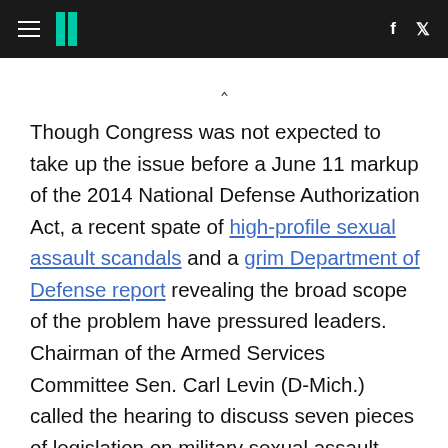HuffPost navigation header with hamburger menu, logo, Facebook and Twitter icons
^ (chevron/caret symbol)
Though Congress was not expected to take up the issue before a June 11 markup of the 2014 National Defense Authorization Act, a recent spate of high-profile sexual assault scandals and a grim Department of Defense report revealing the broad scope of the problem have pressured leaders. Chairman of the Armed Services Committee Sen. Carl Levin (D-Mich.) called the hearing to discuss seven pieces of legislation on military sexual assault introduced over the past three months. The bills were sponsored or co-sponsored by more than 40 senators.